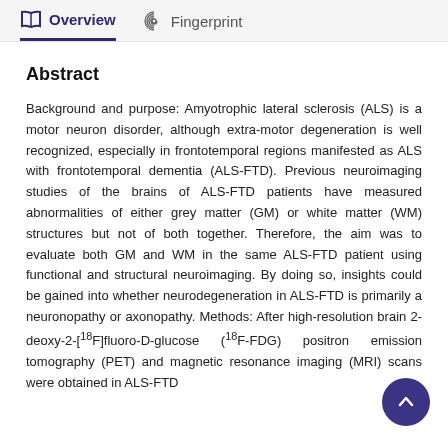Overview | Fingerprint
Abstract
Background and purpose: Amyotrophic lateral sclerosis (ALS) is a motor neuron disorder, although extra-motor degeneration is well recognized, especially in frontotemporal regions manifested as ALS with frontotemporal dementia (ALS-FTD). Previous neuroimaging studies of the brains of ALS-FTD patients have measured abnormalities of either grey matter (GM) or white matter (WM) structures but not of both together. Therefore, the aim was to evaluate both GM and WM in the same ALS-FTD patient using functional and structural neuroimaging. By doing so, insights could be gained into whether neurodegeneration in ALS-FTD is primarily a neuronopathy or axonopathy. Methods: After high-resolution brain 2-deoxy-2-[18F]fluoro-D-glucose (18F-FDG) positron emission tomography (PET) and magnetic resonance imaging (MRI) scans were obtained in ALS-FTD